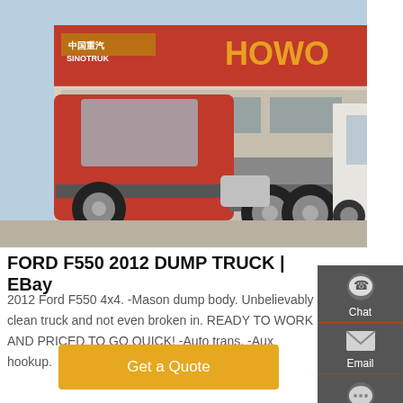[Figure (photo): A red SINOTRUK HOWO semi-truck tractor parked in front of a HOWO sales center building with Chinese signage. Several white trucks visible in the background on the right.]
FORD F550 2012 DUMP TRUCK | EBay
2012 Ford F550 4x4. -Mason dump body. Unbelievably clean truck and not even broken in. READY TO WORK AND PRICED TO GO QUICK! -Auto trans. -Aux hookup.
Get a Quote